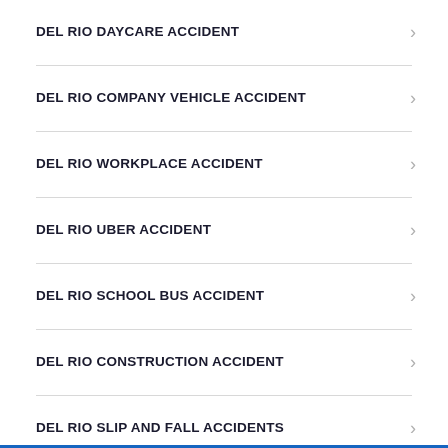DEL RIO DAYCARE ACCIDENT
DEL RIO COMPANY VEHICLE ACCIDENT
DEL RIO WORKPLACE ACCIDENT
DEL RIO UBER ACCIDENT
DEL RIO SCHOOL BUS ACCIDENT
DEL RIO CONSTRUCTION ACCIDENT
DEL RIO SLIP AND FALL ACCIDENTS